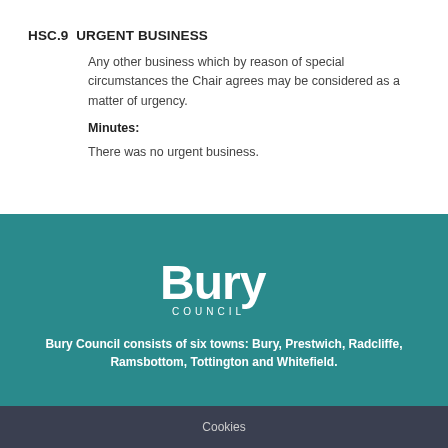HSC.9  URGENT BUSINESS
Any other business which by reason of special circumstances the Chair agrees may be considered as a matter of urgency.
Minutes:
There was no urgent business.
[Figure (logo): Bury Council logo in white on teal background]
Bury Council consists of six towns: Bury, Prestwich, Radcliffe, Ramsbottom, Tottington and Whitefield.
Cookies